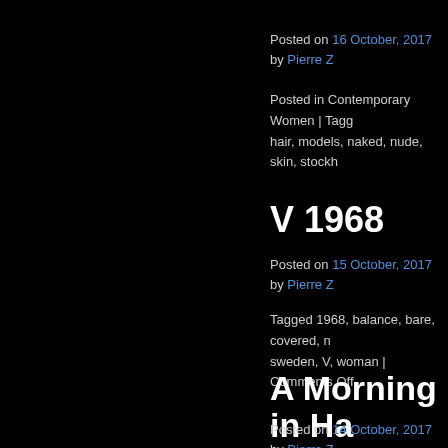Posted on 16 October, 2017 by Pierre Z
Posted in Contemporary Women | Tagged hair, models, naked, nude, skin, stockh...
V 1968
Posted on 15 October, 2017 by Pierre Z
Tagged 1968, balance, bare, covered, ... sweden, V, woman | Comments Off
A Morning in Ha...
Posted on 14 October, 2017 by Pierre Z
Tagged 1966, A Morning in Hagalund II... nude, skin, stockholm, Studio Magenta,...